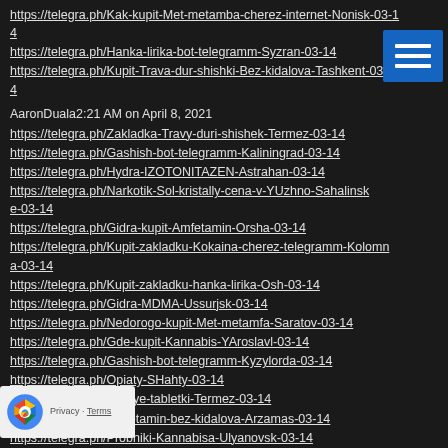https://telegra.ph/Kak-kupit-Met-metamba-cherez-internet-Nonisk-03-14
https://telegra.ph/Hanka-lirika-bot-telegramm-Syzran-03-14
https://telegra.ph/Kupit-Trava-dur-shishki-Bez-kidalova-Tashkent-03-14
AaronDuala2:21 AM on April 8, 2021
https://telegra.ph/Zakladka-Travy-duri-shishek-Termez-03-14
https://telegra.ph/Gashish-bot-telegramm-Kaliningrad-03-14
https://telegra.ph/Hydra-IZOTONITAZEN-Astrahan-03-14
https://telegra.ph/Narkotik-Sol-kristally-cena-v-YUzhno-Sahalinsk-e-03-14
https://telegra.ph/Gidra-kupit-Amfetamin-Orsha-03-14
https://telegra.ph/Kupit-zakladku-Kokaina-cherez-telegramm-Kolomna-03-14
https://telegra.ph/Kupit-zakladku-hanka-lirika-Osh-03-14
https://telegra.ph/Gidra-MDMA-Ussurjsk-03-14
https://telegra.ph/Nedorogo-kupit-Met-metamfa-Saratov-03-14
https://telegra.ph/Gde-kupit-Kannabis-YAroslavl-03-14
https://telegra.ph/Gashish-bot-telegramm-Kyzylorda-03-14
https://telegra.ph/Opiaty-SHahty-03-14
https://telegra.ph/Umnye-tabletki-Termez-03-14
https://telegra.ph/Amfetamin-bez-kidalova-Arzamas-03-14
https://telegra.ph/Probniki-Kannabisa-Ulyanovsk-03-14
https://telegra.ph/Krasnodar-kupit-zakladku-KOKSA-MEFA-AMFA-03-14